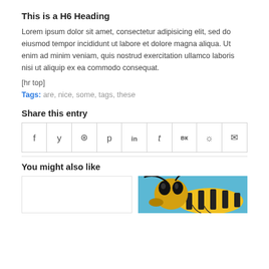This is a H6 Heading
Lorem ipsum dolor sit amet, consectetur adipisicing elit, sed do eiusmod tempor incididunt ut labore et dolore magna aliqua. Ut enim ad minim veniam, quis nostrud exercitation ullamco laboris nisi ut aliquip ex ea commodo consequat.
[hr top]
Tags: are, nice, some, tags, these
Share this entry
| f | y | WhatsApp | p | in | t | VK | Reddit | mail |
You might also like
[Figure (photo): Two thumbnail images: left is blank/white, right is a close-up macro photo of a yellow and black wasp against a blue background.]